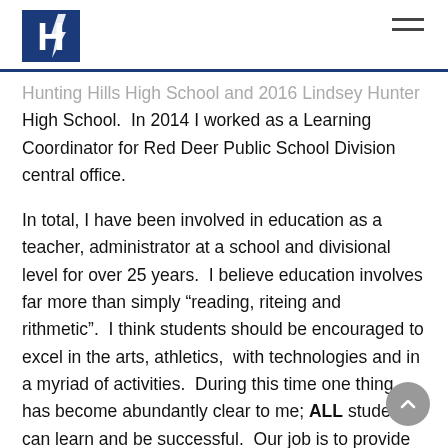H [logo] — Hunting Hills High School
Hunting Hills High School and 2016 Lindsey Hunter High School.  In 2014 I worked as a Learning Coordinator for Red Deer Public School Division central office.
In total, I have been involved in education as a teacher, administrator at a school and divisional level for over 25 years.  I believe education involves far more than simply “reading, riteing and rithmetic”.  I think students should be encouraged to excel in the arts, athletics,  with technologies and in a myriad of activities.  During this time one thing has become abundantly clear to me; ALL students can learn and be successful.  Our job is to provide opportunity and optimal instruction to motivate and inspire them to